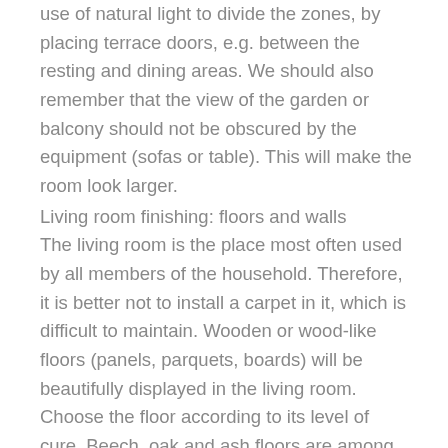use of natural light to divide the zones, by placing terrace doors, e.g. between the resting and dining areas. We should also remember that the view of the garden or balcony should not be obscured by the equipment (sofas or table). This will make the room look larger.
Living room finishing: floors and walls
The living room is the place most often used by all members of the household. Therefore, it is better not to install a carpet in it, which is difficult to maintain. Wooden or wood-like floors (panels, parquets, boards) will be beautifully displayed in the living room. Choose the floor according to its level of cure. Beech, oak and ash floors are among the best. Pine or spruce floors are less durable because they are soft. You can also place ceramic or stone tiles of interesting design (made of marble, gres or granite) in the living room. However, the materials are cool, not only physically, but also visually, so consider the extent to which you care about